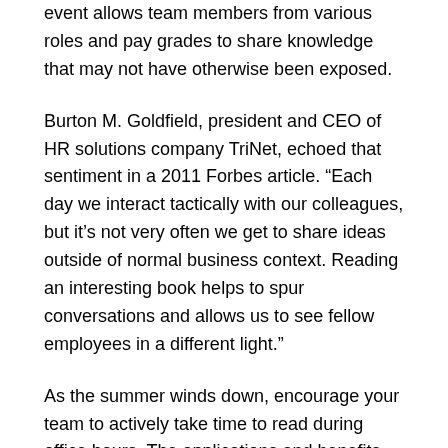event allows team members from various roles and pay grades to share knowledge that may not have otherwise been exposed.
Burton M. Goldfield, president and CEO of HR solutions company TriNet, echoed that sentiment in a 2011 Forbes article. “Each day we interact tactically with our colleagues, but it’s not very often we get to share ideas outside of normal business context. Reading an interesting book helps to spur conversations and allows us to see fellow employees in a different light.”
As the summer winds down, encourage your team to actively take time to read during office hours. The applications and benefits make the book club more than worth the effort.
Andy Bailey is lead entrepreneur coach with business coaching firm Petra and serves as the global membership